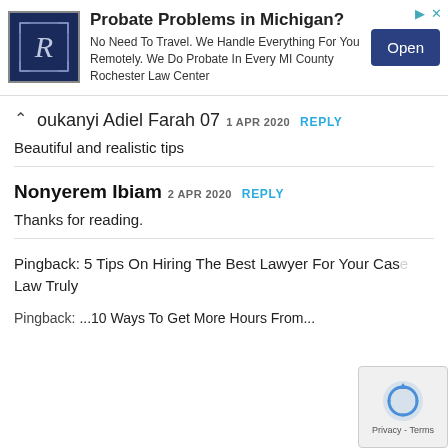[Figure (infographic): Advertisement banner for Rochester Law Center: logo on left, bold headline 'Probate Problems in Michigan?', body text 'No Need To Travel. We Handle Everything For You Remotely. We Do Probate In Every MI County Rochester Law Center', blue 'Open' button on right, ad icons top right.]
Moukanyi Adiel Farah 07  1 APR 2020  REPLY
Beautiful and realistic tips
Nonyerem Ibiam  2 APR 2020  REPLY
Thanks for reading.
Pingback: 5 Tips On Hiring The Best Lawyer For Your Case - Law Truly
Pingback: ...10 Ways To Get More Hours From...